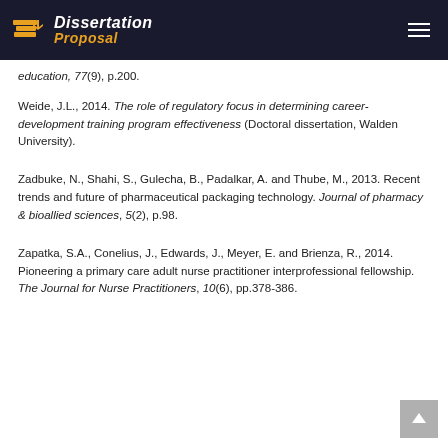Dissertation Proposal
education, 77(9), p.200.
Weide, J.L., 2014. The role of regulatory focus in determining career-development training program effectiveness (Doctoral dissertation, Walden University).
Zadbuke, N., Shahi, S., Gulecha, B., Padalkar, A. and Thube, M., 2013. Recent trends and future of pharmaceutical packaging technology. Journal of pharmacy & bioallied sciences, 5(2), p.98.
Zapatka, S.A., Conelius, J., Edwards, J., Meyer, E. and Brienza, R., 2014. Pioneering a primary care adult nurse practitioner interprofessional fellowship. The Journal for Nurse Practitioners, 10(6), pp.378-386.